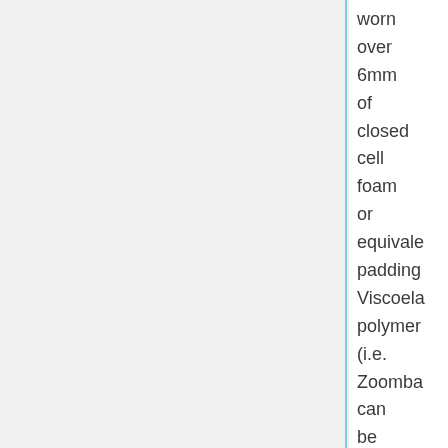worn over 6mm of closed cell foam or equivalent padding. Viscoelastic polymer (i.e. Zoombang) can be considered the equivalent of